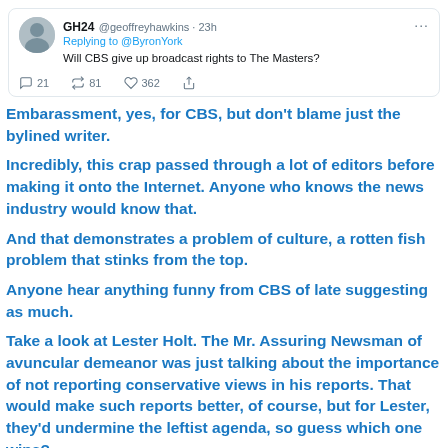[Figure (screenshot): Tweet from GH24 @geoffreyhawkins 23h, replying to @ByronYork: Will CBS give up broadcast rights to The Masters? With engagement stats: 21 replies, 81 retweets, 362 likes.]
Embarassment, yes, for CBS, but don't blame just the bylined writer.
Incredibly, this crap passed through a lot of editors before making it onto the Internet. Anyone who knows the news industry would know that.
And that demonstrates a problem of culture, a rotten fish problem that stinks from the top.
Anyone hear anything funny from CBS of late suggesting as much.
Take a look at Lester Holt. The Mr. Assuring Newsman of avuncular demeanor was just talking about the importance of not reporting conservative views in his reports. That would make such reports better, of course, but for Lester, they'd undermine the leftist agenda, so guess which one wins?